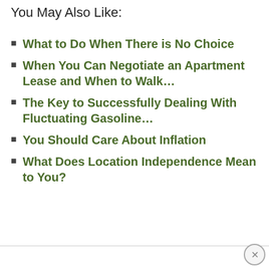You May Also Like:
What to Do When There is No Choice
When You Can Negotiate an Apartment Lease and When to Walk…
The Key to Successfully Dealing With Fluctuating Gasoline…
You Should Care About Inflation
What Does Location Independence Mean to You?